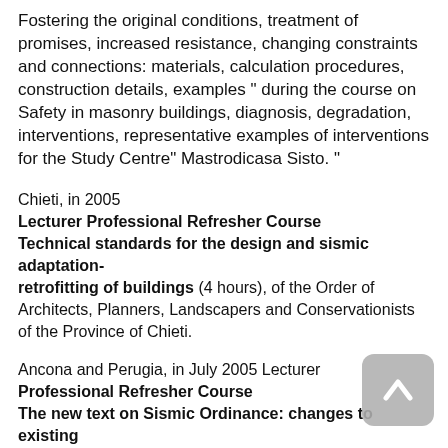Fostering the original conditions, treatment of promises, increased resistance, changing constraints and connections: materials, calculation procedures, construction details, examples " during the course on Safety in masonry buildings, diagnosis, degradation, interventions, representative examples of interventions for the Study Centre" Mastrodicasa Sisto. "
Chieti, in 2005 Lecturer Professional Refresher Course Technical standards for the design and sismic adaptation-retrofitting of buildings (4 hours), of the Order of Architects, Planners, Landscapers and Conservationists of the Province of Chieti.
Ancona and Perugia, in July 2005 Lecturer Professional Refresher Course The new text on Sismic Ordinance: changes to existing masonry buildings (8 hours), Study Centre "Mastrodicasa Sisto" Centre of Rome and Ancona.